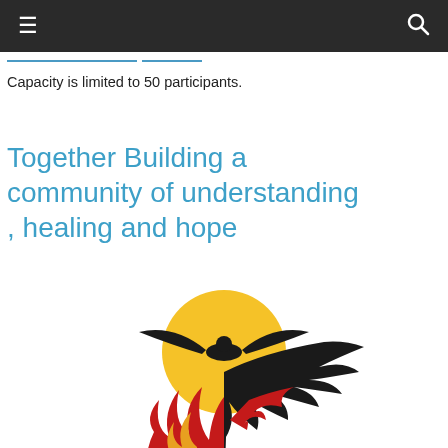≡  🔍
Capacity is limited to 50 participants.
Together Building a community of understanding , healing and hope
[Figure (logo): Organization logo featuring a bird in flight silhouetted against a golden sun, with red flames below and stylized black feather/wing shapes. Community organization emblem.]